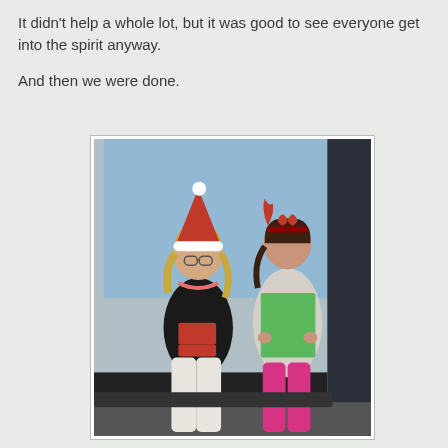It didn't help a whole lot, but it was good to see everyone get into the spirit anyway.

And then we were done.
[Figure (photo): Two girls standing on a stage. The girl on the left wears a red and white Santa hat and holds a red box, dressed in a black top and white pants. The girl on the right wears a red reindeer headband and holds a green piece of paper/folder, dressed in a light sweater and bright pink pants. A light blue projection screen is visible in the background.]